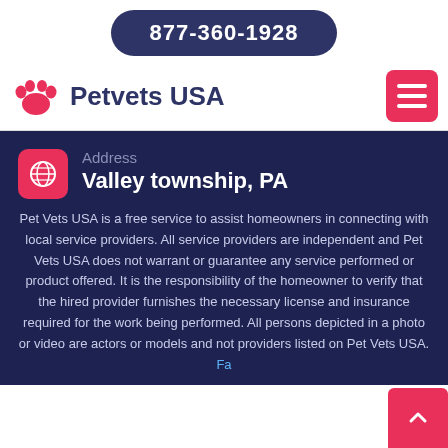877-360-1928
[Figure (logo): Petvets USA logo with pink paw print icon and dark blue text]
Address
Valley township, PA
Pet Vets USA is a free service to assist homeowners in connecting with local service providers. All service providers are independent and Pet Vets USA does not warrant or guarantee any service performed or product offered. It is the responsibility of the homeowner to verify that the hired provider furnishes the necessary license and insurance required for the work being performed. All persons depicted in a photo or video are actors or models and not providers listed on Pet Vets USA. Fa...